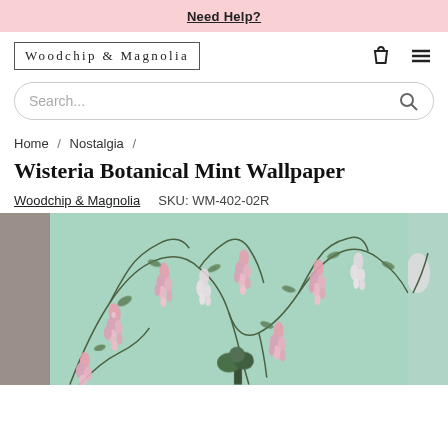Need Help?
[Figure (logo): Woodchip & Magnolia logo in bordered box]
Search...
Home / Nostalgia /
Wisteria Botanical Mint Wallpaper
Woodchip & Magnolia   SKU: WM-402-02R
[Figure (photo): Wisteria Botanical Mint Wallpaper product image showing pink wisteria blooms on a mint green background with twisting branches]